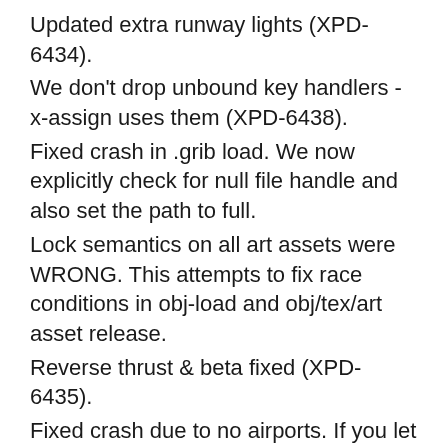Updated extra runway lights (XPD-6434).
We don't drop unbound key handlers - x-assign uses them (XPD-6438).
Fixed crash in .grib load. We now explicitly check for null file handle and also set the path to full.
Lock semantics on all art assets were WRONG. This attempts to fix race conditions in obj-load and obj/tex/art asset release.
Reverse thrust & beta fixed (XPD-6435).
Fixed crash due to no airports. If you let the AI fly the X-15 and it flew too far from other airports the sim could crash.
Fixes black textures in A-310 and crashes. This should cover crashes changing airports, "negative ref count" errors,